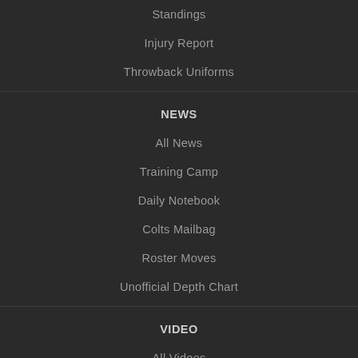Standings
Injury Report
Throwback Uniforms
NEWS
All News
Training Camp
Daily Notebook
Colts Mailbag
Roster Moves
Unofficial Depth Chart
VIDEO
All Videos